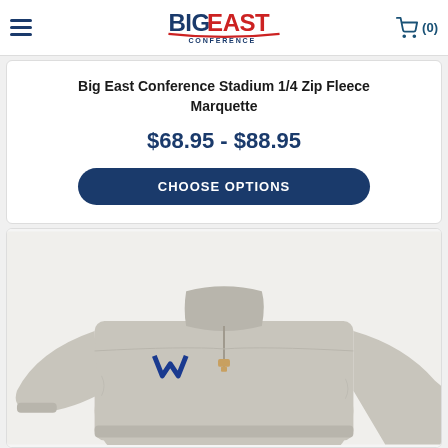Big East Conference — navigation header with logo and cart (0)
Big East Conference Stadium 1/4 Zip Fleece Marquette
$68.95 - $88.95
CHOOSE OPTIONS
[Figure (photo): Grey quarter-zip fleece pullover with Marquette blue logo on left chest, shown on white background]